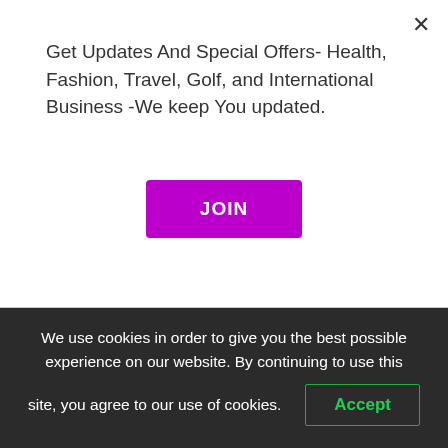Get Updates And Special Offers- Health, Fashion, Travel, Golf, and International Business -We keep You updated.
JOIN
Food, gourmet, and gastronomy are part of every region’s identity. Delicious things to eat, nice memories from places you have traveled.
We got few selected recipes to prepare a nice meal at your home.
#travel #food #gourmet #recipes
We use cookies in order to give you the best possible experience on our website. By continuing to use this site, you agree to our use of cookies.
Accept